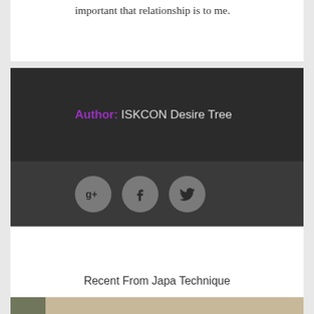important that relationship is to me.
Author: ISKCON Desire Tree
[Figure (infographic): Three social media icon circles: Google+, Facebook, Twitter on dark background]
Recent From Japa Technique
[Figure (photo): Photo of hands holding prayer beads (japa mala), close-up, golden-brown tones, with green element on left edge]